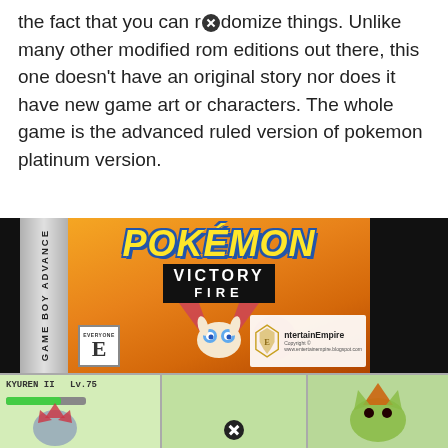the fact that you can randomize things. Unlike many other modified rom editions out there, this one doesn't have an original story nor does it have new game art or characters. The whole game is the advanced ruled version of pokemon platinum version.
[Figure (photo): Top portion: Pokemon Victory Fire Game Boy Advance cartridge box art featuring the Pokemon logo in yellow italic text with blue outline, 'VICTORY FIRE' subtitle in white on black banner, an orange gradient background, and a white rabbit-like Pokemon creature. ESRB 'E for Everyone' rating badge and EntertainEmpire watermark in bottom right corner. Bottom portion: A split view showing a battle scene with a trainer named KYUREN II at Lv.75 with a green HP bar, and two Pokemon characters visible - a dark blue/gray Pokemon on the left center and a green Pokemon on the right.]